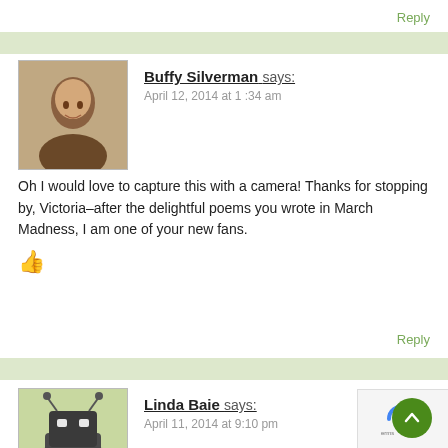Reply
[Figure (photo): Avatar photo of Buffy Silverman, a woman with short dark hair smiling]
Buffy Silverman says:
April 12, 2014 at 1:34 am
Oh I would love to capture this with a camera! Thanks for stopping by, Victoria–after the delightful poems you wrote in March Madness, I am one of your new fans.
👍
Reply
[Figure (illustration): Avatar icon of Linda Baie, a cartoon robot/bug character]
Linda Baie says:
April 11, 2014 at 9:10 pm